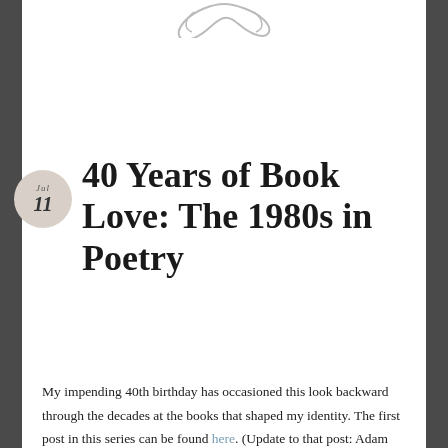[Figure (illustration): Decorative swirl/flourish at the top center of the page]
40 Years of Book Love: The 1980s in Poetry
My impending 40th birthday has occasioned this look backward through the decades at the books that shaped my identity. The first post in this series can be found here. (Update to that post: Adam read it and bought Gockel, Hinkel and Gackeliah for me for only $36.95 on Alibris. What a guy!)
My book consumption ramped up in my middle-school and teenage years, so I'm going to cover poetry and prose in two separate posts. I